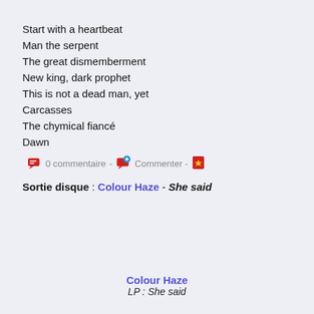Start with a heartbeat
Man the serpent
The great dismemberment
New king, dark prophet
This is not a dead man, yet
Carcasses
The chymical fiancé
Dawn
0 commentaire  -  Commenter -
Sortie disque : Colour Haze - She said
Colour Haze
LP : She said